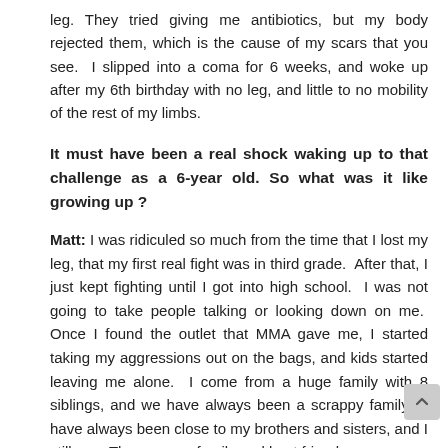leg. They tried giving me antibiotics, but my body rejected them, which is the cause of my scars that you see.  I slipped into a coma for 6 weeks, and woke up after my 6th birthday with no leg, and little to no mobility of the rest of my limbs.
It must have been a real shock waking up to that challenge as a 6-year old. So what was it like growing up ?
Matt: I was ridiculed so much from the time that I lost my leg, that my first real fight was in third grade.  After that, I just kept fighting until I got into high school.  I was not going to take people talking or looking down on me.  Once I found the outlet that MMA gave me, I started taking my aggressions out on the bags, and kids started leaving me alone.  I come from a huge family with 8 siblings, and we have always been a scrappy family.  I have always been close to my brothers and sisters, and I still am.  They are my family and best friends.
Before getting into MMA, you started competing. How did...